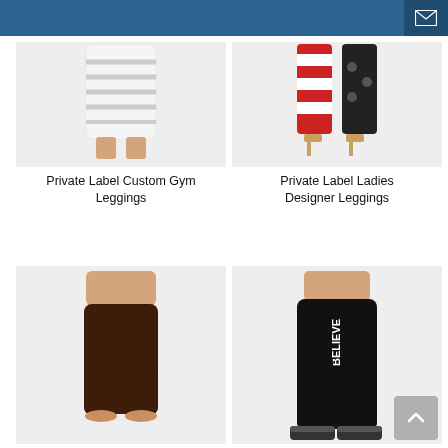[Figure (photo): White patterned gym leggings on a model, cropped at waist and feet]
Private Label Custom Gym Leggings
[Figure (photo): Red, white, and blue American flag patterned leggings on a model wearing heels]
Private Label Ladies Designer Leggings
[Figure (photo): Solid dark brown/chocolate capri leggings on a model]
[Figure (photo): Black leggings with BELIEVE text printed in white on the side, worn with sneakers]